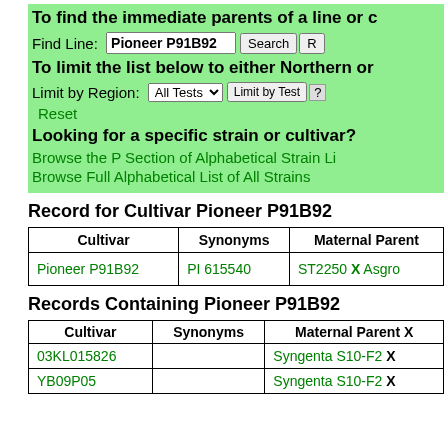To find the immediate parents of a line or c
Find Line: Pioneer P91B92 [Search] [R]
To limit the list below to either Northern or
Limit by Region: All Tests ▾  [Limit by Test] [?]
Reset
Looking for a specific strain or cultivar?
Browse the P Section of Alphabetical Strain Li
Browse Full Alphabetical List of All Strains
Record for Cultivar Pioneer P91B92
| Cultivar | Synonyms | Maternal Parent |
| --- | --- | --- |
| Pioneer P91B92 | PI 615540 | ST2250 X Asgro |
Records Containing Pioneer P91B92
| Cultivar | Synonyms | Maternal Parent X |
| --- | --- | --- |
| 03KL015826 |  | Syngenta S10-F2 X |
| YB09P05 |  | Syngenta S10-F2 X |